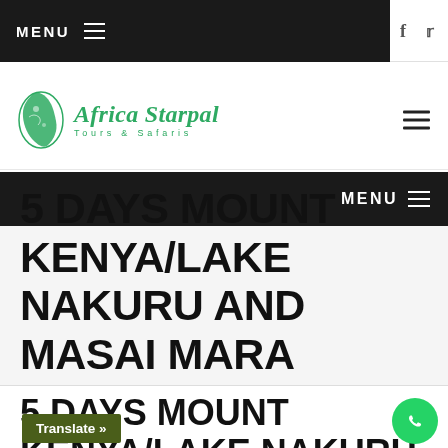MENU
[Figure (logo): Africa Starpal Tours & Safaris logo with green Africa continent icon and cursive green brand name]
MENU
5 DAYS MOUNT KENYA/LAKE NAKURU AND MASAI MARA SAFARI
5 DAYS MOUNT KENYA/LAKE NAKURU AND MASAI MARA